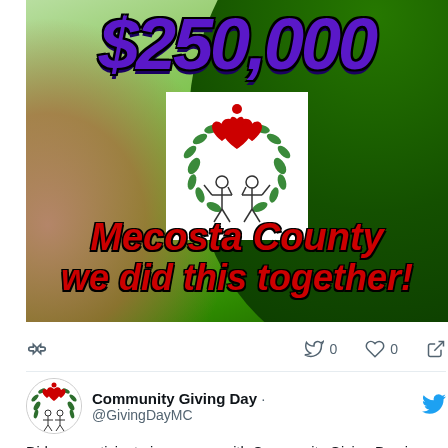[Figure (infographic): Community Giving Day promotional image with green gradient background, large purple bold italic $250,000 text at top, a white square logo in center featuring two stick figures holding hearts surrounded by a green wreath, and red italic bold text reading 'Mecosta County we did this together!']
0	0
[Figure (logo): Community Giving Day circular logo with wreath and hearts]
Community Giving Day · @GivingDayMC
Did you participate in any way with Community Giving Day in Mecosta County online or in-person? #CommunityGivingDay #MecostaCounty #BigRapids #GivingTuesday #LionsClub #RotaryClub